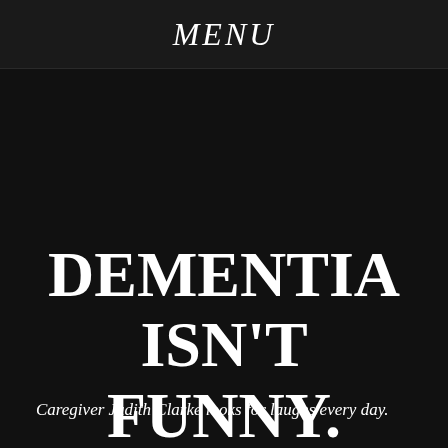MENU
DEMENTIA ISN'T FUNNY.
Caregiver Judith Clarke looks for laughs every day.